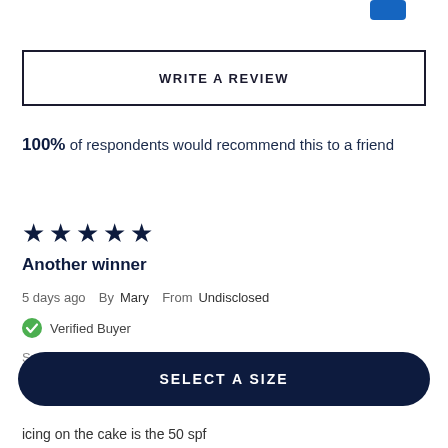[Figure (other): Small blue icon/button at top right, partially cropped]
WRITE A REVIEW
100% of respondents would recommend this to a friend
[Figure (other): Five filled dark navy star rating icons]
Another winner
5 days ago  By Mary  From Undisclosed
Verified Buyer
Submitted as part of a sweepstakes entry
SELECT A SIZE
icing on the cake is the 50 spf